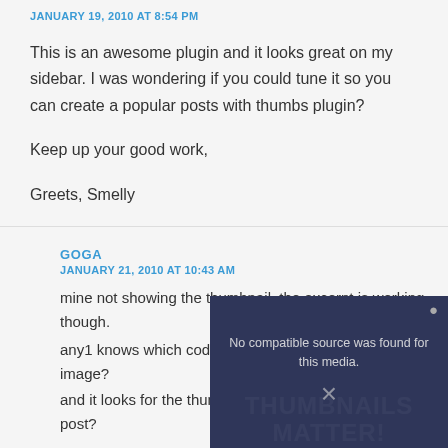JANUARY 19, 2010 AT 8:54 PM
This is an awesome plugin and it looks great on my sidebar. I was wondering if you could tune it so you can create a popular posts with thumbs plugin?
Keep up your good work,
Greets, Smelly
GOGA
JANUARY 21, 2010 AT 10:43 AM
mine not showing the thumbnail. the excerpt is working though.
any1 knows which code that it uses to look for the image?
and it looks for the thumbnail post or the image in the post?
[Figure (other): Media error overlay with text 'No compatible source was found for this media.' and a close/dismiss button, overlaid on a dark thumbnail background with stylized text 'THUMBNAILS MATTER!']